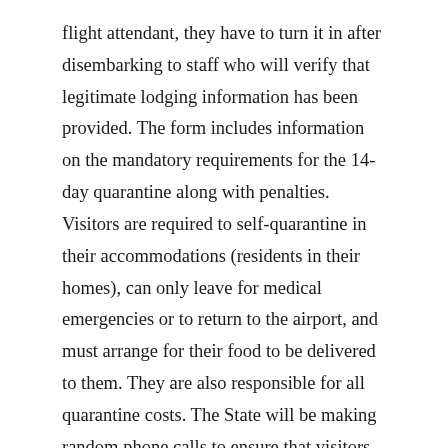flight attendant, they have to turn it in after disembarking to staff who will verify that legitimate lodging information has been provided. The form includes information on the mandatory requirements for the 14-day quarantine along with penalties. Visitors are required to self-quarantine in their accommodations (residents in their homes), can only leave for medical emergencies or to return to the airport, and must arrange for their food to be delivered to them. They are also responsible for all quarantine costs. The State will be making random phone calls to ensure that visitors are staying in their lodgings, as well as writing tickets and levying fines to visitors found to be violating the quarantine. Anyone who violates the mandatory quarantine could face up to $5,000 in fines or a year in prison, if convicted.